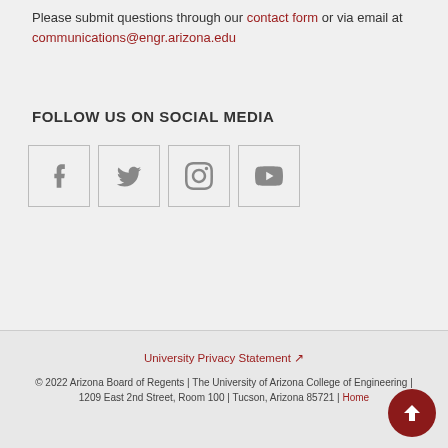Please submit questions through our contact form or via email at communications@engr.arizona.edu
FOLLOW US ON SOCIAL MEDIA
[Figure (illustration): Four social media icon boxes: Facebook, Twitter, Instagram, YouTube]
SUBSCRIBE TO OUR E-NEWSLETTER
University Privacy Statement
© 2022 Arizona Board of Regents | The University of Arizona College of Engineering | 1209 East 2nd Street, Room 100 | Tucson, Arizona 85721 | Home